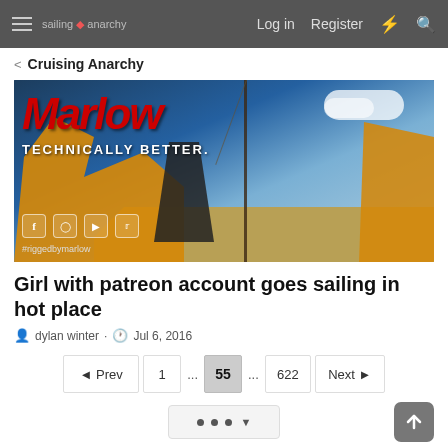sailing anarchy  Log in  Register
< Cruising Anarchy
[Figure (photo): Marlow ropes advertisement banner showing sailors in yellow foul-weather gear working on a sailboat deck. Text reads 'Marlow TECHNICALLY BETTER.' with social media icons and hashtag #riggedbymarlow]
Girl with patreon account goes sailing in hot place
dylan winter · Jul 6, 2016
◄ Prev  1  ...  55  ...  622  Next ►
• • • ▾